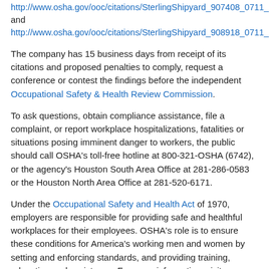http://www.osha.gov/ooc/citations/SterlingShipyard_907408_0711_1... and http://www.osha.gov/ooc/citations/SterlingShipyard_908918_0711_14...
The company has 15 business days from receipt of its citations and proposed penalties to comply, request a conference or contest the findings before the independent Occupational Safety & Health Review Commission.
To ask questions, obtain compliance assistance, file a complaint, or report workplace hospitalizations, fatalities or situations posing imminent danger to workers, the public should call OSHA's toll-free hotline at 800-321-OSHA (6742), or the agency's Houston South Area Office at 281-286-0583 or the Houston North Area Office at 281-520-6171.
Under the Occupational Safety and Health Act of 1970, employers are responsible for providing safe and healthful workplaces for their employees. OSHA's role is to ensure these conditions for America's working men and women by setting and enforcing standards, and providing training, education and assistance. For more information, visit http://www.osha.gov.
###